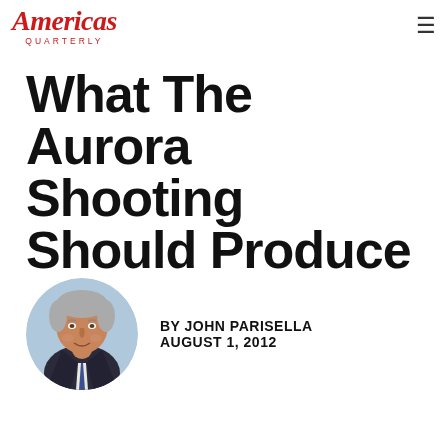Americas Quarterly
What The Aurora Shooting Should Produce
[Figure (illustration): Illustrated portrait of John Parisella, a gray-haired man in a dark suit, shown in a circular frame]
BY JOHN PARISELLA
AUGUST 1, 2012